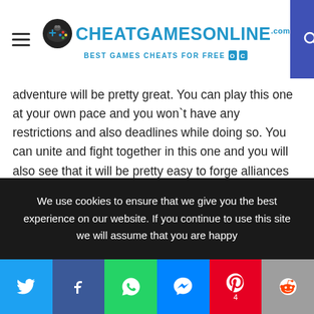CHEATGAMESONLINE.com — BEST GAMES CHEATS FOR FREE
adventure will be pretty great. You can play this one at your own pace and you won`t have any restrictions and also deadlines while doing so. You can unite and fight together in this one and you will also see that it will be pretty easy to forge alliances with other players.
There are a lot of dangerous opponents which you will meet in the game and you will have the ability to make your very own strategy while playing this one out. As you become better in this one, you will unlock different things and you will like all of the heroes presented in this one. At times you may need some additional features and this is
We use cookies to ensure that we give you the best experience on our website. If you continue to use this site we will assume that you are happy